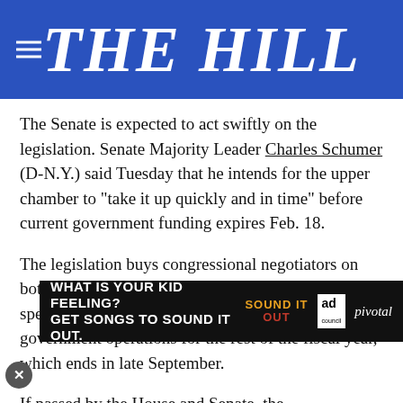THE HILL
The Senate is expected to act swiftly on the legislation. Senate Majority Leader Charles Schumer (D-N.Y.) said Tuesday that he intends for the upper chamber to “take it up quickly and in time” before current government funding expires Feb. 18.
The legislation buys congressional negotiators on both sides of the aisle time to strike a larger spending deal, known as an omnibus, to fund government operations for the rest of the fiscal year, which ends in late September.
If passed by the House and Senate, the continuing resolution will mark the third time Congress has had to res[ort to a stopgap measure] to avoid a shutdown for the cu[rrent appropriations lawmakers
[Figure (screenshot): Advertisement banner: WHAT IS YOUR KID FEELING? GET SONGS TO SOUND IT OUT. with Sound It Out and Ad Council / Pivotal logos]